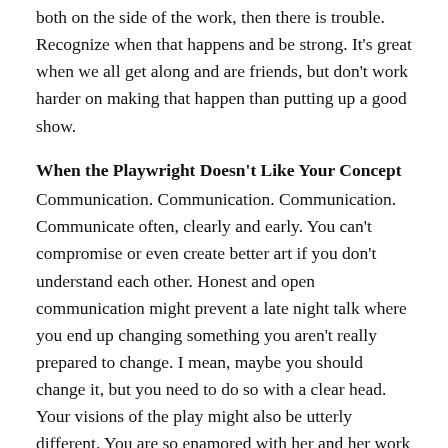both on the side of the work, then there is trouble. Recognize when that happens and be strong. It's great when we all get along and are friends, but don't work harder on making that happen than putting up a good show.
When the Playwright Doesn't Like Your Concept
Communication. Communication. Communication. Communicate often, clearly and early. You can't compromise or even create better art if you don't understand each other. Honest and open communication might prevent a late night talk where you end up changing something you aren't really prepared to change. I mean, maybe you should change it, but you need to do so with a clear head. Your visions of the play might also be utterly different. You are so enamored with her and her work you would do just about anything to make her happy. When